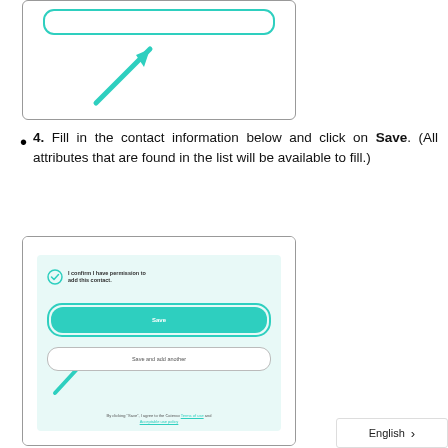[Figure (screenshot): Screenshot showing a teal rounded input bar with a teal arrow pointing to it from below-left]
4.  Fill in the contact information below and click on Save. (All attributes that are found in the list will be available to fill.)
[Figure (screenshot): Screenshot showing a form with a checkbox 'I confirm I have permission to add this contact.', a teal Save button with an arrow pointing to it, a 'Save and add another' button, and terms of use text at the bottom]